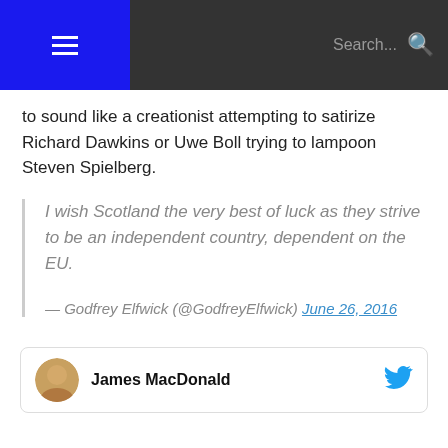Search...
to sound like a creationist attempting to satirize Richard Dawkins or Uwe Boll trying to lampoon Steven Spielberg.
I wish Scotland the very best of luck as they strive to be an independent country, dependent on the EU.

— Godfrey Elfwick (@GodfreyElfwick) June 26, 2016
James MacDonald